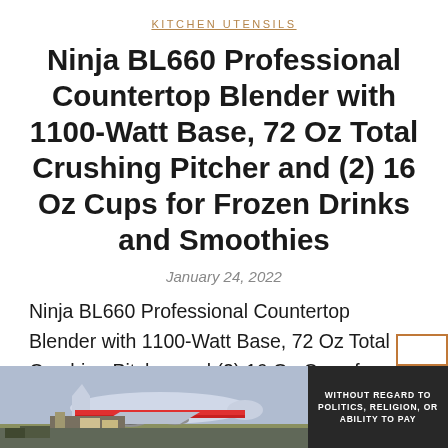KITCHEN UTENSILS
Ninja BL660 Professional Countertop Blender with 1100-Watt Base, 72 Oz Total Crushing Pitcher and (2) 16 Oz Cups for Frozen Drinks and Smoothies
January 24, 2022
Ninja BL660 Professional Countertop Blender with 1100-Watt Base, 72 Oz Total Crushing Pitcher and (2) 16 Oz Cups for Frozen Drinks and Smoothies – Click Image Above to
[Figure (photo): Advertisement banner showing a cargo airplane being loaded, with dark overlay text panel on the right reading WITHOUT REGARD TO POLITICS, RELIGION, OR ABILITY TO PAY]